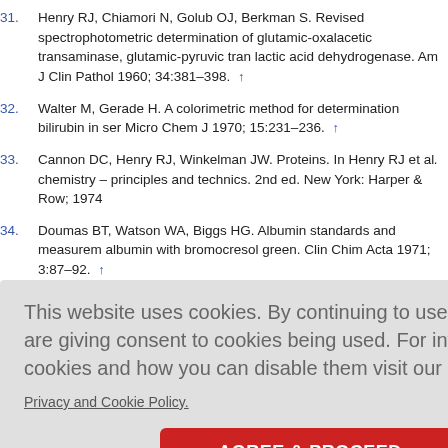31. Henry RJ, Chiamori N, Golub OJ, Berkman S. Revised spectrophotometric determination of glutamic-oxalacetic transaminase, glutamic-pyruvic transaminase, and lactic acid dehydrogenase. Am J Clin Pathol 1960; 34:381–398. ↑
32. Walter M, Gerade H. A colorimetric method for determination bilirubin in serum. Micro Chem J 1970; 15:231–236. ↑
33. Cannon DC, Henry RJ, Winkelman JW. Proteins. In Henry RJ et al. Clinical chemistry – principles and technics. 2nd ed. New York: Harper & Row; 1974.
34. Doumas BT, Watson WA, Biggs HG. Albumin standards and measurement of serum albumin with bromocresol green. Clin Chim Acta 1971; 3:87–92. ↑
This website uses cookies. By continuing to use this website you are giving consent to cookies being used. For information on cookies and how you can disable them visit our
Privacy and Cookie Policy.
AGREE & PROCEED